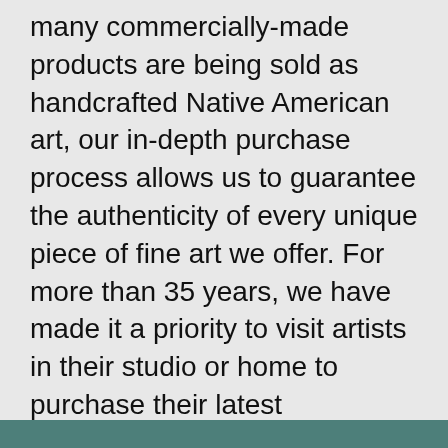many commercially-made products are being sold as handcrafted Native American art, our in-depth purchase process allows us to guarantee the authenticity of every unique piece of fine art we offer. For more than 35 years, we have made it a priority to visit artists in their studio or home to purchase their latest handcrafted pieces and learn about their work. We have developed lasting relationships with artists, as well as dealers and collectors, and we take pride in being a trusted destination for fine Native American art.